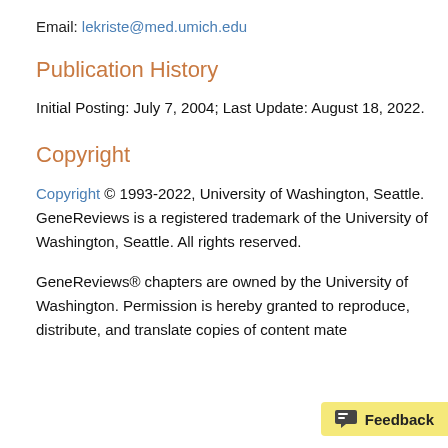Email: lekriste@med.umich.edu
Publication History
Initial Posting: July 7, 2004; Last Update: August 18, 2022.
Copyright
Copyright © 1993-2022, University of Washington, Seattle. GeneReviews is a registered trademark of the University of Washington, Seattle. All rights reserved.
GeneReviews® chapters are owned by the University of Washington. Permission is hereby granted to reproduce, distribute, and translate copies of content mate…